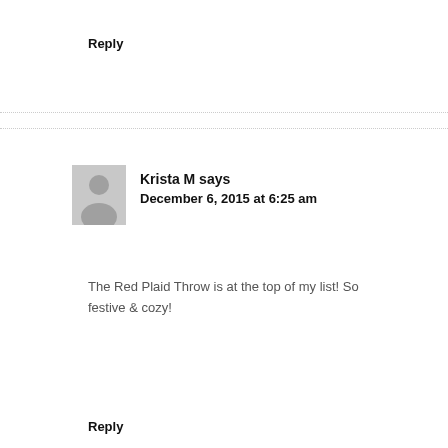Reply
Krista M says
December 6, 2015 at 6:25 am
The Red Plaid Throw is at the top of my list! So festive & cozy!
Reply